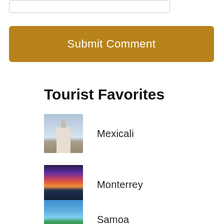[Figure (screenshot): Text input box (form field) at the top of the page]
Submit Comment
Tourist Favorites
Mexicali
Monterrey
Samoa